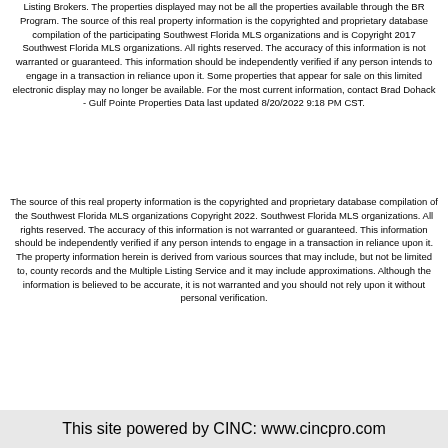Listing Brokers. The properties displayed may not be all the properties available through the BR Program. The source of this real property information is the copyrighted and proprietary database compilation of the participating Southwest Florida MLS organizations and is Copyright 2017 Southwest Florida MLS organizations. All rights reserved. The accuracy of this information is not warranted or guaranteed. This information should be independently verified if any person intends to engage in a transaction in reliance upon it. Some properties that appear for sale on this limited electronic display may no longer be available. For the most current information, contact Brad Dohack - Gulf Pointe Properties Data last updated 8/20/2022 9:18 PM CST.
The source of this real property information is the copyrighted and proprietary database compilation of the Southwest Florida MLS organizations Copyright 2022. Southwest Florida MLS organizations. All rights reserved. The accuracy of this information is not warranted or guaranteed. This information should be independently verified if any person intends to engage in a transaction in reliance upon it. The property information herein is derived from various sources that may include, but not be limited to, county records and the Multiple Listing Service and it may include approximations. Although the information is believed to be accurate, it is not warranted and you should not rely upon it without personal verification.
This site powered by CINC: www.cincpro.com